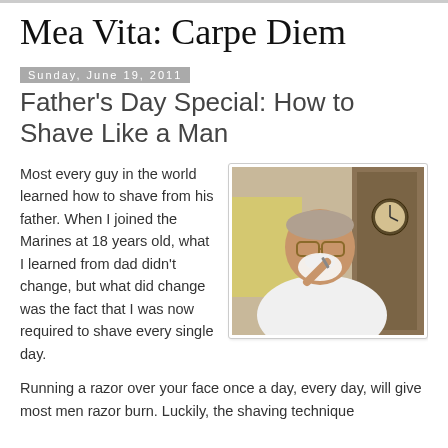Mea Vita: Carpe Diem
Sunday, June 19, 2011
Father's Day Special: How to Shave Like a Man
Most every guy in the world learned how to shave from his father. When I joined the Marines at 18 years old, what I learned from dad didn't change, but what did change was the fact that I was now required to shave every single day.
[Figure (photo): A middle-aged man in a white t-shirt shaving, wearing glasses, photographed in a home setting with a clock visible in the background.]
Running a razor over your face once a day, every day, will give most men razor burn. Luckily, the shaving technique